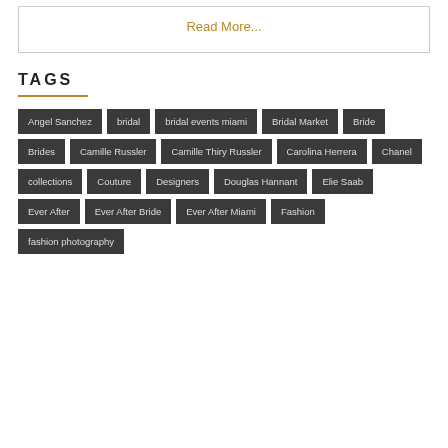Read More...
TAGS
Angel Sanchez
bridal
bridal events miami
Bridal Market
Bride
Brides
Camille Russler
Camille Thiry Russler
Carolina Herrera
Chanel
collections
Couture
Designers
Douglas Hannant
Elie Saab
Ever After
Ever After Bride
Ever After Miami
Fashion
fashion photography